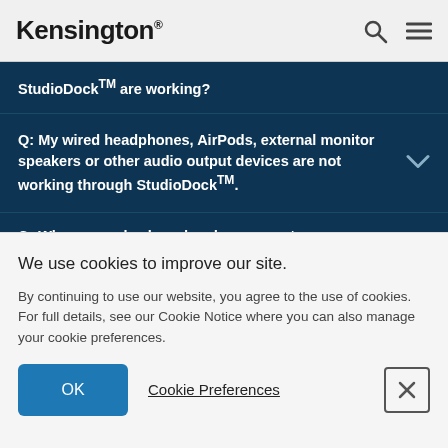Kensington
StudioDock™ are working?
Q: My wired headphones, AirPods, external monitor speakers or other audio output devices are not working through StudioDock™.
Q: Why are my keyboard and mouse not
We use cookies to improve our site.
By continuing to use our website, you agree to the use of cookies. For full details, see our Cookie Notice where you can also manage your cookie preferences.
OK
Cookie Preferences